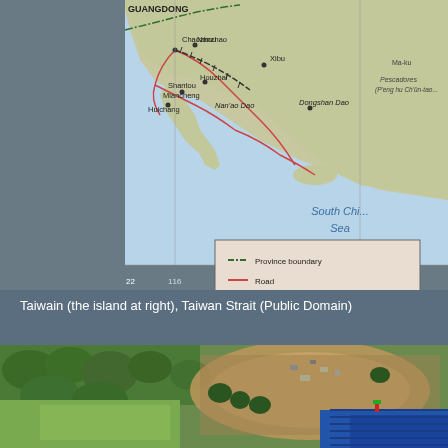[Figure (map): Map showing Guangdong province coast of China including cities Chaozhou, Nanzhao, Xibu, Shantou, Miancheng, Huichang, Houzhai, Dongshan Dao, Nan'ao Dao, and the South China Sea. Includes map legend showing Province boundary (dashed green), Road (red), Railroad (black with ties). Scale 1:4,000,000, Lambert Conformal Conic Projection, SP 23N/45N. Scale bar shows 0-100 Kilometers and 0-100 Miles. Partially visible: Pescadores (P'eng hu Ch'un-tao), Ma-ku. Coordinate labels 116, 118, 22.]
Taiwain (the island at right), Taiwan Strait (Public Domain)
[Figure (photo): Aerial photograph showing a construction site with an oval/stadium shape, surrounded by green trees and fields. Blue roofing or material visible at the bottom right corner.]